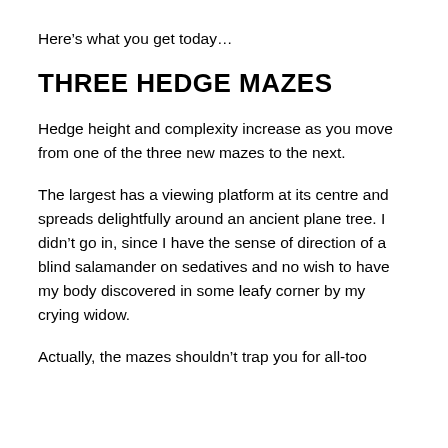Here’s what you get today…
THREE HEDGE MAZES
Hedge height and complexity increase as you move from one of the three new mazes to the next.
The largest has a viewing platform at its centre and spreads delightfully around an ancient plane tree. I didn’t go in, since I have the sense of direction of a blind salamander on sedatives and no wish to have my body discovered in some leafy corner by my crying widow.
Actually, the mazes shouldn’t trap you for all-too